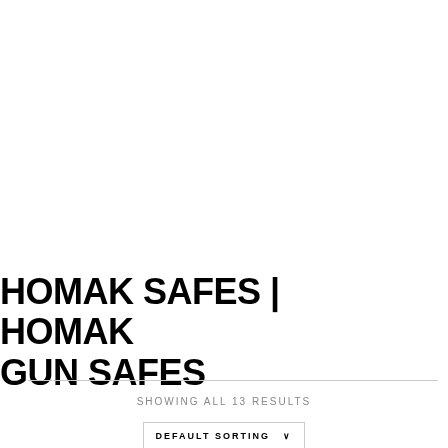HOMAK SAFES | HOMAK GUN SAFES
SHOWING ALL 13 RESULTS
DEFAULT SORTING